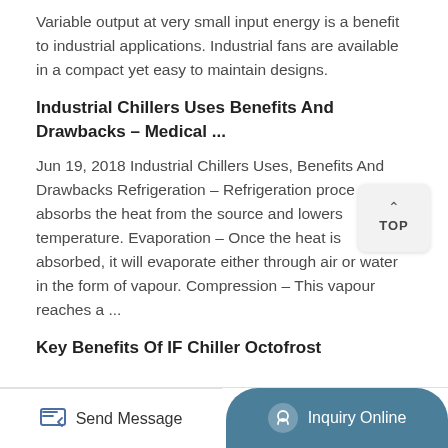Variable output at very small input energy is a benefit to industrial applications. Industrial fans are available in a compact yet easy to maintain designs.
Industrial Chillers Uses Benefits And Drawbacks - Medical ...
Jun 19, 2018 Industrial Chillers Uses, Benefits And Drawbacks Refrigeration - Refrigeration process absorbs the heat from the source and lowers temperature. Evaporation - Once the heat is absorbed, it will evaporate either through air or water in the form of vapour. Compression - This vapour reaches a ...
Key Benefits Of IF Chiller Octofrost